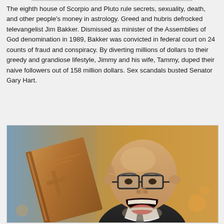The eighth house of Scorpio and Pluto rule secrets, sexuality, death, and other people's money in astrology. Greed and hubris defrocked televangelist Jim Bakker. Dismissed as minister of the Assemblies of God denomination in 1989, Bakker was convicted in federal court on 24 counts of fraud and conspiracy. By diverting millions of dollars to their greedy and grandiose lifestyle, Jimmy and his wife, Tammy, duped their naive followers out of 158 million dollars. Sex scandals busted Senator Gary Hart.
[Figure (photo): Photo of an elderly bald man with glasses and pointy ears, mouth open wide, holding up what appears to be a large brown book or Bible, wearing a dark suit with a patterned tie.]